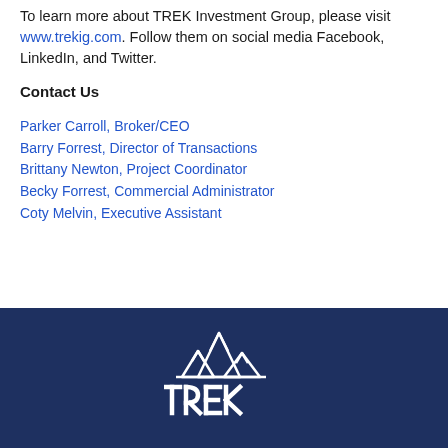To learn more about TREK Investment Group, please visit www.trekig.com. Follow them on social media Facebook, LinkedIn, and Twitter.
Contact Us
Parker Carroll, Broker/CEO
Barry Forrest, Director of Transactions
Brittany Newton, Project Coordinator
Becky Forrest, Commercial Administrator
Coty Melvin, Executive Assistant
[Figure (logo): TREK Investment Group logo — white mountain peaks icon above bold white TREK lettering on dark navy background]